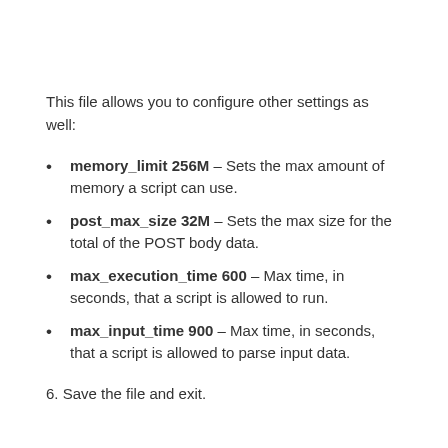This file allows you to configure other settings as well:
memory_limit 256M – Sets the max amount of memory a script can use.
post_max_size 32M – Sets the max size for the total of the POST body data.
max_execution_time 600 – Max time, in seconds, that a script is allowed to run.
max_input_time 900 – Max time, in seconds, that a script is allowed to parse input data.
6. Save the file and exit.